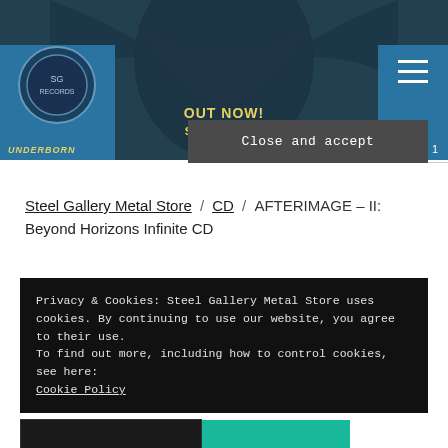[Figure (screenshot): Website header banner with dark fantasy artwork showing a hooded winged figure, blue sidebar with circular logo, menu hamburger icon, yellow text 'OUT NOW! VIA STEEL GALLERY RECORDS', and 'UNDERBORN' text]
Steel Gallery Metal Store / CD / AFTERIMAGE – II: Beyond Horizons Infinite CD
Privacy & Cookies: Steel Gallery Metal Store uses cookies. By continuing to use our website, you agree to their use.
To find out more, including how to control cookies, see here:
Cookie Policy
Close and accept